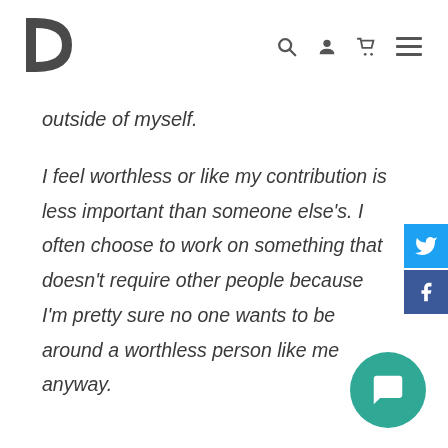P [logo with search, user, cart, menu icons]
outside of myself.
I feel worthless or like my contribution is less important than someone else's. I often choose to work on something that doesn't require other people because I'm pretty sure no one wants to be around a worthless person like me anyway.